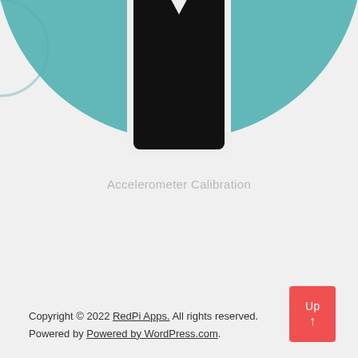[Figure (illustration): A teal circular background with a smartphone illustration in the center. The phone has a white/light gray body with rounded corners, a black screen, and a downward-pointing notch/chevron at the top of the screen. This represents an accelerometer calibration UI.]
Accelerometer Calibration
Copyright © 2022 RedPi Apps. All rights reserved. Powered by Powered by WordPress.com.